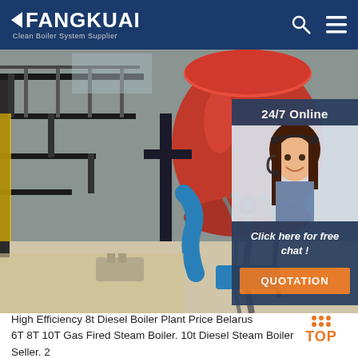FANGKUAI Clean Boiler System Supplier
[Figure (photo): Industrial boiler room with large red cylindrical boiler tank, metal staircase, pipes and hoses, bright floor, industrial facility interior]
[Figure (photo): 24/7 Online customer service representative - woman with headset smiling, with chat widget overlay showing 'Click here for free chat!' and QUOTATION button]
High Efficiency 8t Diesel Boiler Plant Price Belarus 6T 8T 10T Gas Fired Steam Boiler. 10t Diesel Steam Boiler Seller. 2 4t 6t 8t 10t asme coal fired industrial 10 tons steam . Best 1T 2T 3 1T 2T 4T 5T 10T Industrial Fire tube Steam boiler . Still More b